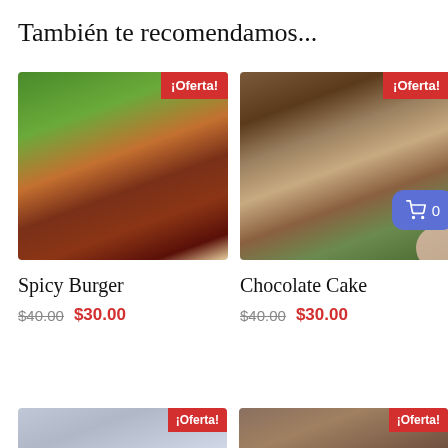También te recomendamos...
[Figure (photo): Close-up photo of a juicy burger with lettuce, bacon, melted cheese and BBQ sauce, with a red ¡Oferta! badge in the top right corner]
Spicy Burger
$40.00  $30.00
[Figure (photo): Photo of burgers and fries on wooden boards on a restaurant table with dark beer mugs, with a red ¡Oferta! badge and a blue shopping cart button showing 0]
Chocolate Cake
$40.00  $30.00
[Figure (photo): Partial bottom photo (left) with ¡Oferta! badge]
[Figure (photo): Partial bottom photo (right) with ¡Oferta! badge]